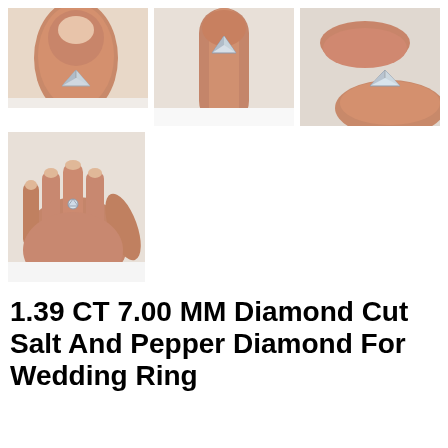[Figure (photo): Three photos arranged in a row: left shows a small silver triangular/arrowhead-shaped diamond on a fingertip; center shows the diamond on a fingertip from above; right shows the diamond held between two fingers.]
[Figure (photo): A hand with an open palm, showing the small salt and pepper diamond placed on one of the fingers.]
1.39 CT 7.00 MM Diamond Cut Salt And Pepper Diamond For Wedding Ring